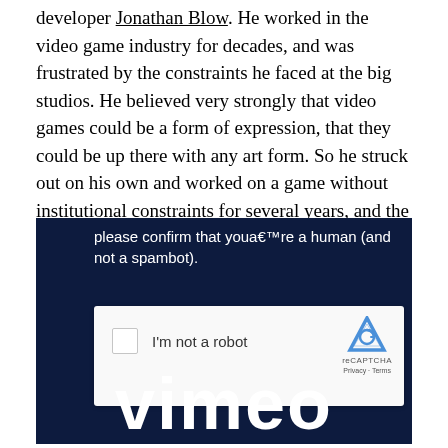developer Jonathan Blow. He worked in the video game industry for decades, and was frustrated by the constraints he faced at the big studios. He believed very strongly that video games could be a form of expression, that they could be up there with any art form. So he struck out on his own and worked on a game without institutional constraints for several years, and the result was Braid.
[Figure (screenshot): Screenshot of a dark navy webpage with a reCAPTCHA dialog. The text reads 'please confirm that youâ€™re a human (and not a spambot).' with a white reCAPTCHA box containing a checkbox and 'I'm not a robot' label, reCAPTCHA logo, Privacy and Terms links. Below is a partial Vimeo logo in white.]